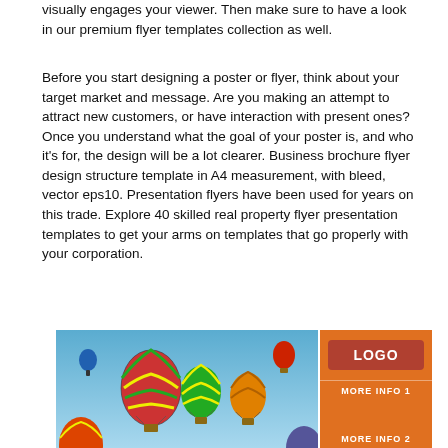visually engages your viewer. Then make sure to have a look in our premium flyer templates collection as well.
Before you start designing a poster or flyer, think about your target market and message. Are you making an attempt to attract new customers, or have interaction with present ones? Once you understand what the goal of your poster is, and who it’s for, the design will be a lot clearer. Business brochure flyer design structure template in A4 measurement, with bleed, vector eps10. Presentation flyers have been used for years on this trade. Explore 40 skilled real property flyer presentation templates to get your arms on templates that go properly with your corporation.
[Figure (photo): Hot air balloons of various colors floating in a blue sky]
[Figure (infographic): Orange sidebar with LOGO button, MORE INFO 1 and MORE INFO 2 text labels]